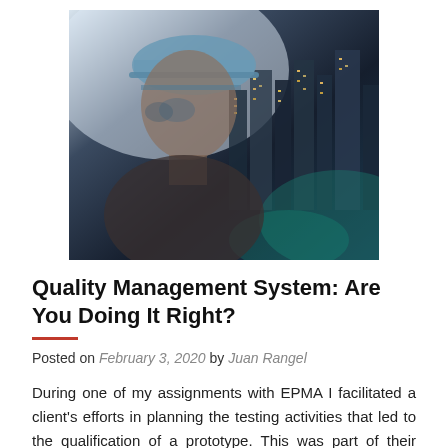[Figure (photo): Double-exposure photo of a man in a hard hat and safety glasses merged with a nighttime city skyline, creating a composite silhouette image]
Quality Management System: Are You Doing It Right?
Posted on February 3, 2020 by Juan Rangel
During one of my assignments with EPMA I facilitated a client's efforts in planning the testing activities that led to the qualification of a prototype. This was part of their product development process in the scope of a complex